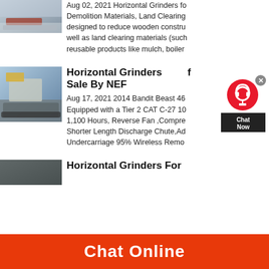[Figure (photo): Photo of industrial grinding/crushing machine with white material]
Aug 02, 2021 Horizontal Grinders for Demolition Materials, Land Clearing... designed to reduce wooden constru... well as land clearing materials (such... reusable products like mulch, boiler...
[Figure (photo): Photo of horizontal grinder machine on tracks, yellow and white, outdoors]
Horizontal Grinders for Sale By NEF
Aug 17, 2021 2014 Bandit Beast 46... Equipped with a Tier 2 CAT C-27 10... 1,100 Hours, Reverse Fan ,Compre... Shorter Length Discharge Chute,Ad... Undercarriage 95% Wireless Remo...
[Figure (photo): Photo of dark industrial grinding material/output]
Horizontal Grinders For...
[Figure (screenshot): Chat widget overlay with red circle icon, close X button, and dark Chat Now box]
Chat Online